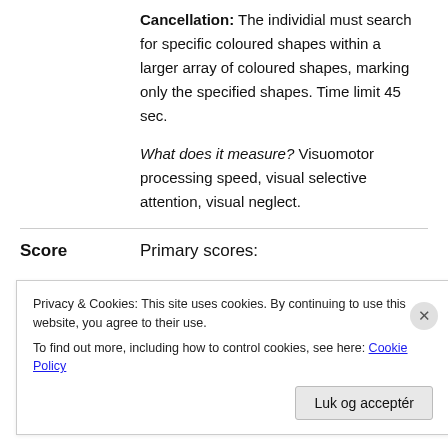Cancellation: The individial must search for specific coloured shapes within a larger array of coloured shapes, marking only the specified shapes. Time limit 45 sec.
What does it measure? Visuomotor processing speed, visual selective attention, visual neglect.
Score   Primary scores:
Privacy & Cookies: This site uses cookies. By continuing to use this website, you agree to their use. To find out more, including how to control cookies, see here: Cookie Policy